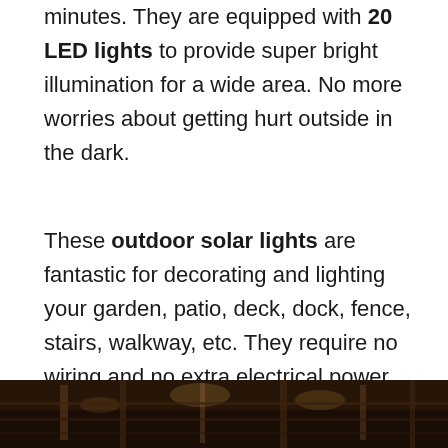minutes. They are equipped with 20 LED lights to provide super bright illumination for a wide area. No more worries about getting hurt outside in the dark.
These outdoor solar lights are fantastic for decorating and lighting your garden, patio, deck, dock, fence, stairs, walkway, etc. They require no wiring and no extra electrical power, just put them under the sun to absorb solar energy to light up your night.
[Figure (photo): Dark outdoor scene showing solar lights illuminating a wooden structure or fence at night]